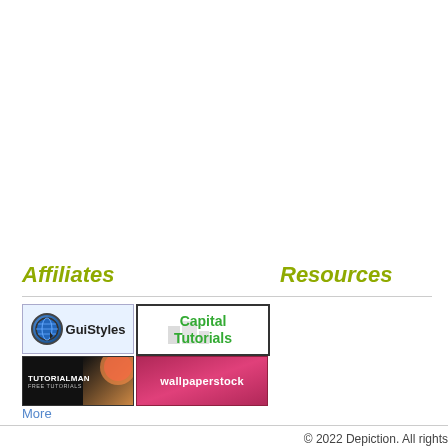Affiliates
Resources
[Figure (logo): GuiStyles logo with globe icon and cursor arrow]
[Figure (logo): Capital Tutorials logo with green text and building background]
[Figure (logo): TutorialMan Free Tutorials logo with dark background and colorful splash]
[Figure (logo): wallpaperstock logo on pink/magenta background]
More
© 2022 Depiction. All rights